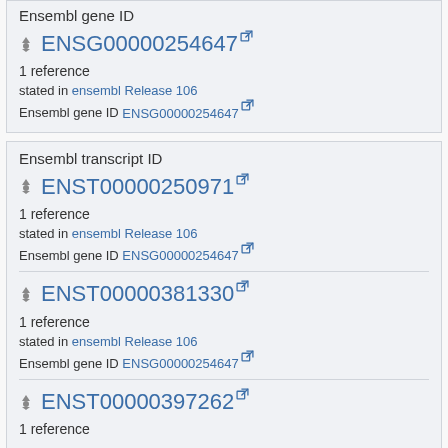Ensembl gene ID
ENSG00000254647
1 reference
stated in ensembl Release 106
Ensembl gene ID ENSG00000254647
Ensembl transcript ID
ENST00000250971
1 reference
stated in ensembl Release 106
Ensembl gene ID ENSG00000254647
ENST00000381330
1 reference
stated in ensembl Release 106
Ensembl gene ID ENSG00000254647
ENST00000397262
1 reference